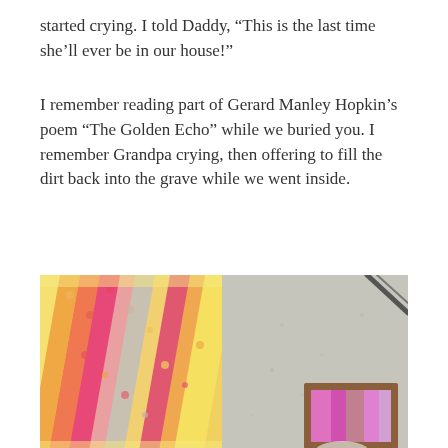started crying. I told Daddy, “This is the last time she’ll ever be in our house!”
I remember reading part of Gerard Manley Hopkin’s poem “The Golden Echo” while we buried you. I remember Grandpa crying, then offering to fill the dirt back into the grave while we went inside.
[Figure (photo): Two photos side by side: left shows a colorful crocheted blanket in yellow, orange, pink and grey; right shows a grey surface with a small wooden-framed picture containing a colorful textile or fabric, and a dark diagonal object in the upper right corner.]